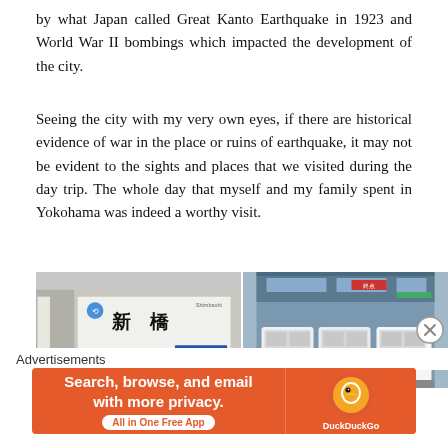by what Japan called Great Kanto Earthquake in 1923 and World War II bombings which impacted the development of the city.
Seeing the city with my very own eyes, if there are historical evidence of war in the place or ruins of earthquake, it may not be evident to the sights and places that we visited during the day trip. The whole day that myself and my family spent in Yokohama was indeed a worthy visit.
[Figure (photo): Two side-by-side photos of a Japanese train station. Left photo shows a train station sign in Japanese (新橋 - Shinbashi) with a subway line map below it showing colored route lines. Right photo shows a train platform with white train cars and a blue ceiling/overhead structure.]
Advertisements
[Figure (other): DuckDuckGo advertisement banner with orange background. Text reads 'Search, browse, and email with more privacy.' with a 'All in One Free App' button and DuckDuckGo logo on the right.]